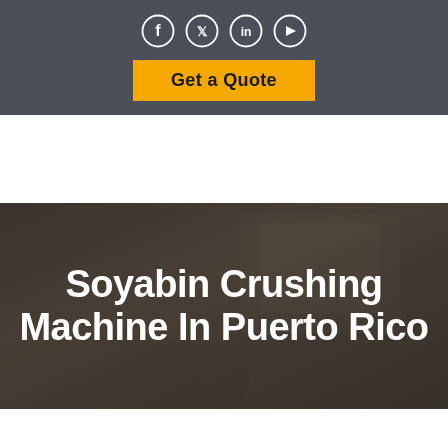[Figure (other): Social media icons row: Facebook, Twitter, LinkedIn, YouTube — circular outline icons on dark gray bar]
Get a Quote
[Figure (photo): Dark-toned background photo of an interior room with a fireplace, with industrial machinery elements in foreground. Overlaid with the title text.]
Soyabin Crushing Machine In Puerto Rico